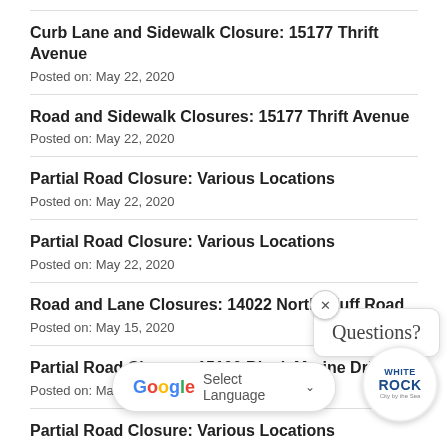Curb Lane and Sidewalk Closure: 15177 Thrift Avenue
Posted on: May 22, 2020
Road and Sidewalk Closures: 15177 Thrift Avenue
Posted on: May 22, 2020
Partial Road Closure: Various Locations
Posted on: May 22, 2020
Partial Road Closure: Various Locations
Posted on: May 22, 2020
Road and Lane Closures: 14022 North Bluff Road
Posted on: May 15, 2020
Partial Road Closure: 15100 Block Marine Drive
Posted on: May 15, 2020
Partial Road Closure: Various Locations
Posted on: May 18, 2020